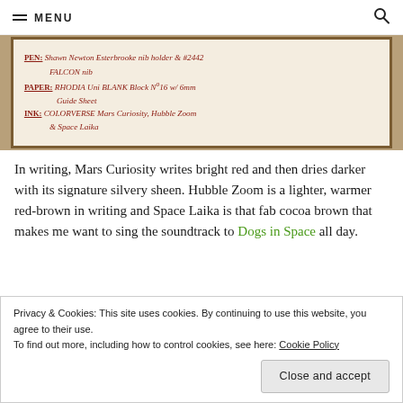MENU
[Figure (photo): Handwritten note on pale paper with wooden frame border showing: PEN: Shawn Newton Esterbrook nib holder & #2442 FALCON nib; PAPER: RHODIA Uni BLANK Block No16 w/ 6mm Guide Sheet; INK: COLORVERSE Mars Curiosity, Hubble Zoom & Space Laika. Written in dark red/rust ink.]
In writing, Mars Curiosity writes bright red and then dries darker with its signature silvery sheen. Hubble Zoom is a lighter, warmer red-brown in writing and Space Laika is that fab cocoa brown that makes me want to sing the soundtrack to Dogs in Space all day.
Privacy & Cookies: This site uses cookies. By continuing to use this website, you agree to their use.
To find out more, including how to control cookies, see here: Cookie Policy
Close and accept